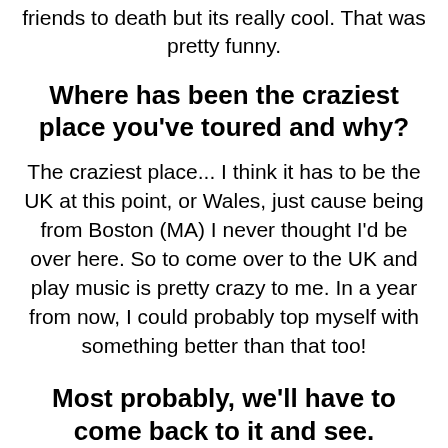friends to death but its really cool. That was pretty funny.
Where has been the craziest place you've toured and why?
The craziest place... I think it has to be the UK at this point, or Wales, just cause being from Boston (MA) I never thought I'd be over here. So to come over to the UK and play music is pretty crazy to me. In a year from now, I could probably top myself with something better than that too!
Most probably, we'll have to come back to it and see.
Yeah give me a year of touring and I might come up with something pretty creative!